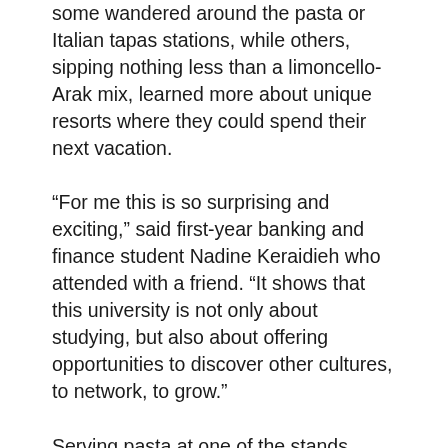some wandered around the pasta or Italian tapas stations, while others, sipping nothing less than a limoncello-Arak mix, learned more about unique resorts where they could spend their next vacation.
“For me this is so surprising and exciting,” said first-year banking and finance student Nadine Keraidieh who attended with a friend. “It shows that this university is not only about studying, but also about offering opportunities to discover other cultures, to network, to grow.”
Serving pasta at one of the stands, Fawzi Aidi, a third-year management major who takes a course in hospitality, agreed: “This is all about PR, marketing and exposure, and it is